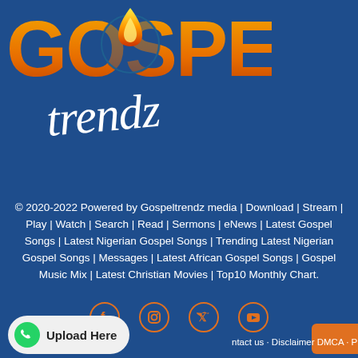[Figure (logo): Gospel Trendz logo with large orange/yellow 'GOSPEL' text and cursive white 'trendz' text, flame icon, on dark blue background]
© 2020-2022 Powered by Gospeltrendz media | Download | Stream | Play | Watch | Search | Read | Sermons | eNews | Latest Gospel Songs | Latest Nigerian Gospel Songs | Trending Latest Nigerian Gospel Songs | Messages | Latest African Gospel Songs | Gospel Music Mix | Latest Christian Movies | Top10 Monthly Chart.
[Figure (infographic): Social media icons: Facebook, Instagram, Twitter, YouTube in orange circle outlines]
ntact us · Disclaimer DMCA · Privacy Policy